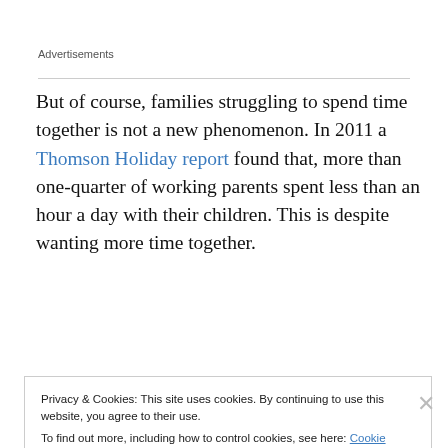Advertisements
But of course, families struggling to spend time together is not a new phenomenon. In 2011 a Thomson Holiday report found that, more than one-quarter of working parents spent less than an hour a day with their children. This is despite wanting more time together.
Privacy & Cookies: This site uses cookies. By continuing to use this website, you agree to their use.
To find out more, including how to control cookies, see here: Cookie Policy
Close and accept